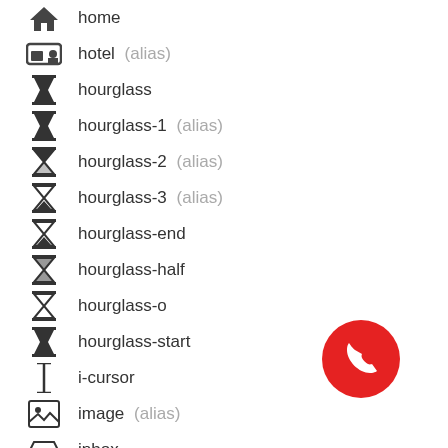home
hotel (alias)
hourglass
hourglass-1 (alias)
hourglass-2 (alias)
hourglass-3 (alias)
hourglass-end
hourglass-half
hourglass-o
hourglass-start
i-cursor
image (alias)
inbox
industry
info
[Figure (illustration): Red circular phone call button with white handset icon]